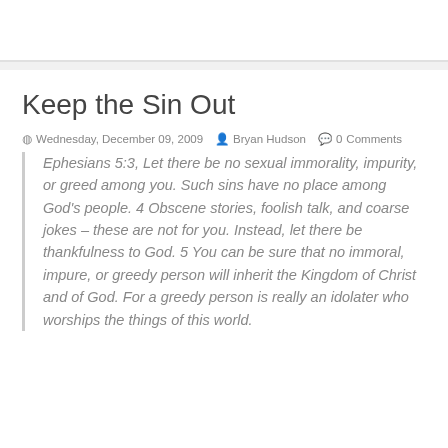Keep the Sin Out
Wednesday, December 09, 2009   Bryan Hudson   0 Comments
Ephesians 5:3, Let there be no sexual immorality, impurity, or greed among you. Such sins have no place among God's people. 4 Obscene stories, foolish talk, and coarse jokes – these are not for you. Instead, let there be thankfulness to God. 5 You can be sure that no immoral, impure, or greedy person will inherit the Kingdom of Christ and of God. For a greedy person is really an idolater who worships the things of this world.